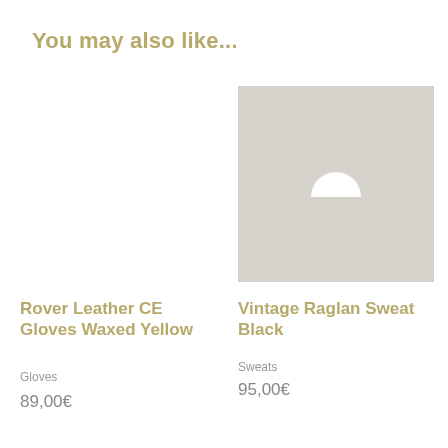You may also like...
[Figure (photo): Empty white product image placeholder for Rover Leather CE Gloves Waxed Yellow]
Rover Leather CE Gloves Waxed Yellow
Gloves
89,00€
[Figure (photo): Light gray product image placeholder with a small white semicircle icon in the center for Vintage Raglan Sweat Black]
Vintage Raglan Sweat Black
Sweats
95,00€